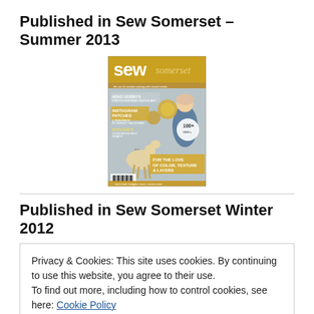Published in Sew Somerset – Summer 2013
[Figure (illustration): Magazine cover of Sew Somerset Summer 2013 issue showing a deer, a girl figure, and golden/yellow design elements with text: HEIKE GERBIO'S POETRY-INSPIRED TEXTILE ART, INSTAGRAM PATCHES & BEANBAGS BY ASHLEY HACKSHAW, RUTH RAE'S STORYBOOK BELT WRAPS, FOR THE LOVE OF COLOR, TEXTURE & LAYERS, 100+ SEWs]
Published in Sew Somerset Winter 2012
Privacy & Cookies: This site uses cookies. By continuing to use this website, you agree to their use.
To find out more, including how to control cookies, see here: Cookie Policy
Close and accept
[Figure (illustration): Partial magazine cover at bottom of page]